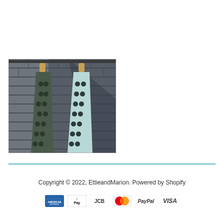[Figure (photo): Two light blue/mint patterned kitchen towels with dark dot/flower print hanging on wooden pegs against a dark stone brick wall with geometric shadow patterns]
Copyright © 2022, EttieandMarion. Powered by Shopify
[Figure (infographic): Payment method icons: American Express, Apple Pay, JCB, Mastercard, PayPal, VISA]